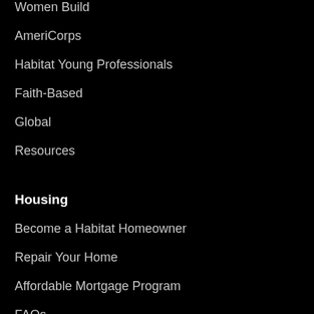Women Build
AmeriCorps
Habitat Young Professionals
Faith-Based
Global
Resources
Housing
Become a Habitat Homeowner
Repair Your Home
Affordable Mortgage Program
FAQs
About
Staff Directory